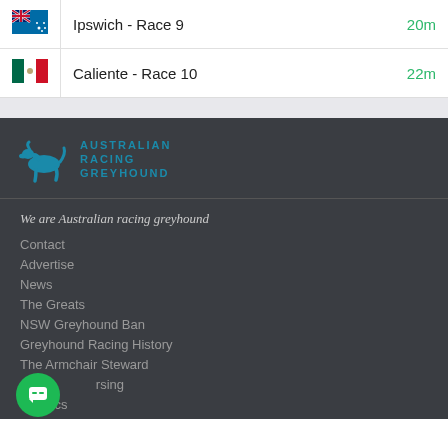|  | Race | Time |
| --- | --- | --- |
| 🇦🇺 | Ipswich - Race 9 | 20m |
| 🇲🇽 | Caliente - Race 10 | 22m |
[Figure (logo): Australian Racing Greyhound logo with stylized greyhound silhouette in teal and text AUSTRALIAN RACING GREYHOUND]
We are Australian racing greyhound
Contact
Advertise
News
The Greats
NSW Greyhound Ban
Greyhound Racing History
The Armchair Steward
Coursing
Topics